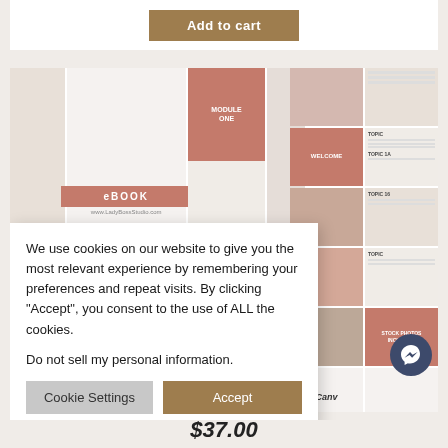[Figure (screenshot): Add to cart button (tan/gold colored) centered at top of page]
[Figure (screenshot): Product preview image grid showing ebook and course templates with pink/rose branding. Includes MODULE ONE, WELCOME, STOCK PHOTOS INCLUDED labels. Right side shows grid of template thumbnails.]
We use cookies on our website to give you the most relevant experience by remembering your preferences and repeat visits. By clicking "Accept", you consent to the use of ALL the cookies.
Do not sell my personal information.
[Figure (screenshot): Cookie Settings button (gray) and Accept button (tan/gold) side by side]
[Figure (screenshot): Canva logo and Facebook Messenger chat button (dark navy circle with lightning bolt icon)]
$37.00